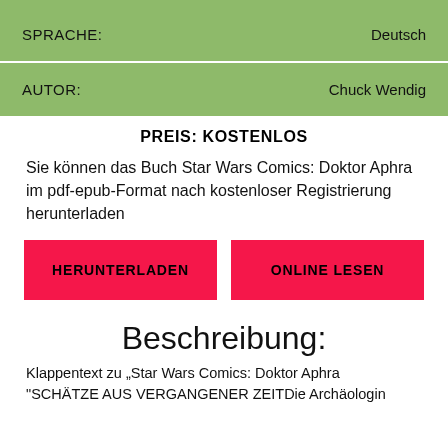| Label | Value |
| --- | --- |
| SPRACHE: | Deutsch |
| AUTOR: | Chuck Wendig |
PREIS: KOSTENLOS
Sie können das Buch Star Wars Comics: Doktor Aphra im pdf-epub-Format nach kostenloser Registrierung herunterladen
HERUNTERLADEN
ONLINE LESEN
Beschreibung:
Klappentext zu „Star Wars Comics: Doktor Aphra "SCHÄTZE AUS VERGANGENER ZEITDie Archäologin